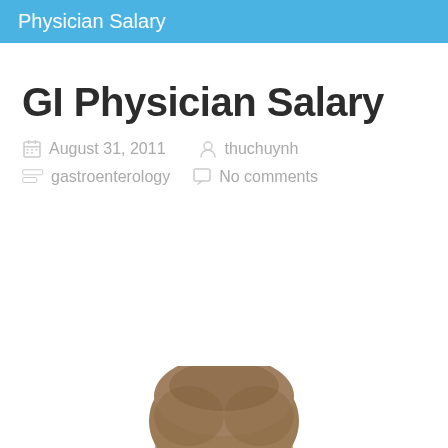Physician Salary
GI Physician Salary
August 31, 2011   thuchuynh   gastroenterology   No comments
[Figure (photo): Top of a person's head/hair visible at the bottom of the page]